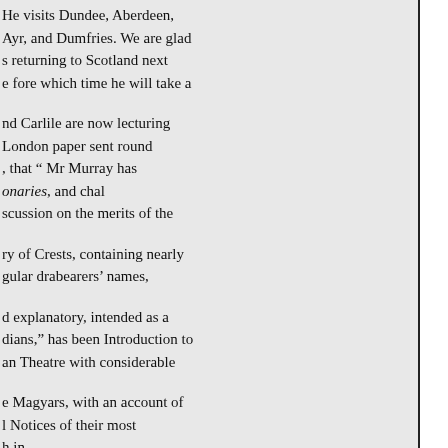He visits Dundee, Aberdeen, Ayr, and Dumfries. We are glad s returning to Scotland next e fore which time he will take a
nd Carlile are now lecturing London paper sent round , that “ Mr Murray has onaries, and chal scussion on the merits of the
ry of Crests, containing nearly gular drabearers’ names,
d explanatory, intended as a dians,” has been Introduction to an Theatre with considerable
e Magyars, with an account of l Notices of their most h in